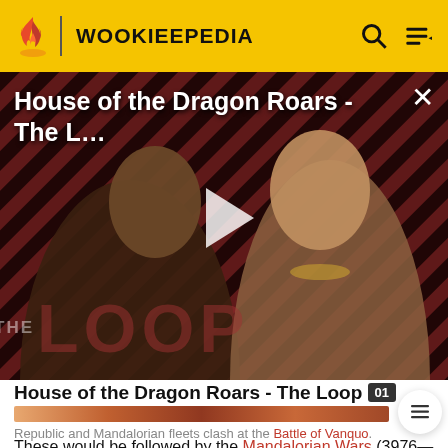WOOKIEEPEDIA
[Figure (screenshot): Video thumbnail for 'House of the Dragon Roars - The L...' showing two characters against a diagonal striped background with THE LOOP branding and a play button overlay]
House of the Dragon Roars - The Loop
Republic and Mandalorian fleets clash at the Battle of Vanquo.
These would be followed by the Mandalorian Wars (3976—3960 BBY). They were fought between Mandalorian